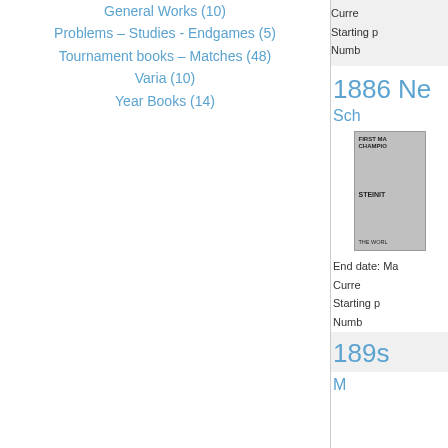General Works (10)
Problems – Studies - Endgames (5)
Tournament books – Matches (48)
Varia (10)
Year Books (14)
Curre...
Starting p...
Numb...
1886 N...
Sch...
[Figure (photo): Book cover showing chess championship, Steinitz, The World...]
End date: Ma...
Curre...
Starting p...
Numb...
189...
M...